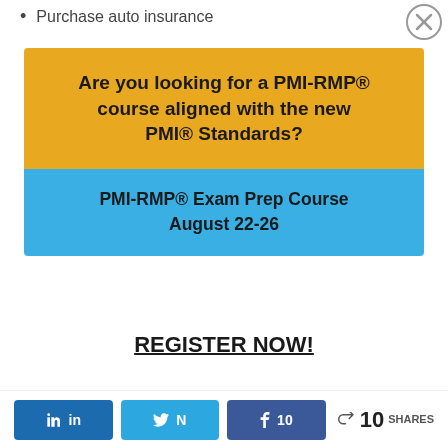Purchase auto insurance
[Figure (infographic): Advertisement banner with two sections: yellow top section asking 'Are you looking for a PMI-RMP® course aligned with the new PMI® Standards?' and blue bottom section advertising 'PMI-RMP® Exam Prep Course August 22-26 REGISTER NOW!']
in Share  N Tweet  f 10  < 10 SHARES